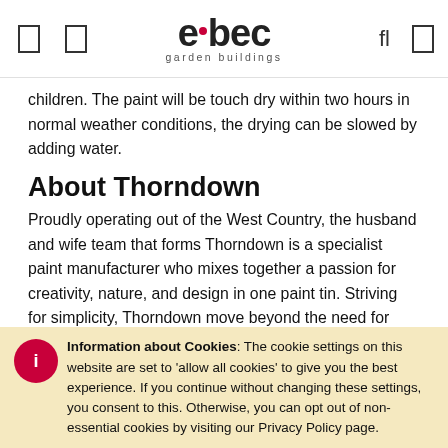elbec garden buildings
children. The paint will be touch dry within two hours in normal weather conditions, the drying can be slowed by adding water.
About Thorndown
Proudly operating out of the West Country, the husband and wife team that forms Thorndown is a specialist paint manufacturer who mixes together a passion for creativity, nature, and design in one paint tin. Striving for simplicity, Thorndown move beyond the need for complicated paint preparation, having made a Wood Paint which will perform on all kinds of timber without additional treatment. Their 30 years of experience is channeled into their family oriented company, and their paint range is of the highest quality. Thorndown hold high eco-credentials, with a focus on recycling and nature friendly formula, and have won multiple industry awards for their quality.
Information about Cookies: The cookie settings on this website are set to 'allow all cookies' to give you the best experience. If you continue without changing these settings, you consent to this. Otherwise, you can opt out of non-essential cookies by visiting our Privacy Policy page.